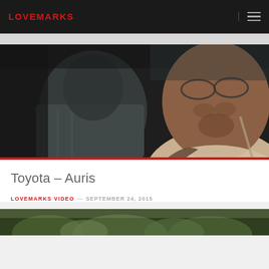LOVEMARKS
[Figure (photo): Close-up photo of an elderly Black man with glasses in a car, with another person blurred in the background]
Toyota – Auris
LOVEMARKS VIDEO — SEPTEMBER 24, 2015
[Figure (photo): Partial view of a second photo at the bottom of the page showing outdoor greenery]